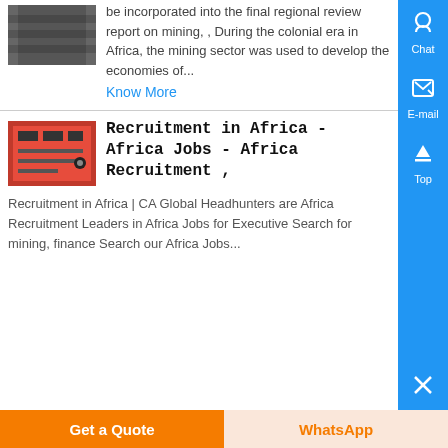[Figure (photo): Dark colored image, partially visible at top]
be incorporated into the final regional review report on mining, , During the colonial era in Africa, the mining sector was used to develop the economies of...
Know More
[Figure (photo): Red electronic circuit board image]
Recruitment in Africa - Africa Jobs - Africa Recruitment ,
Recruitment in Africa | CA Global Headhunters are Africa Recruitment Leaders in Africa Jobs for Executive Search for mining, finance Search our Africa Jobs...
Chat
E-mail
Top
Get a Quote
WhatsApp